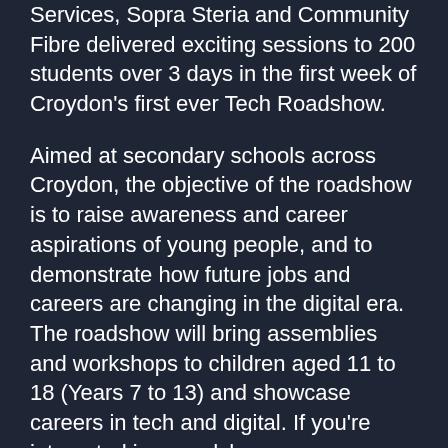Services, Sopra Steria and Community Fibre delivered exciting sessions to 200 students over 3 days in the first week of Croydon's first ever Tech Roadshow.
Aimed at secondary schools across Croydon, the objective of the roadshow is to raise awareness and career aspirations of young people, and to demonstrate how future jobs and careers are changing in the digital era. The roadshow will bring assemblies and workshops to children aged 11 to 18 (Years 7 to 13) and showcase careers in tech and digital. If you're interested in a roadshow near you, Croydon students age 13 and over can sign up for updates here.
Highlights of the first